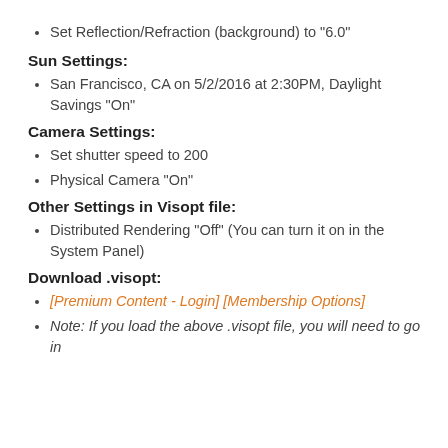Set Reflection/Refraction (background) to "6.0"
Sun Settings:
San Francisco, CA on 5/2/2016 at 2:30PM, Daylight Savings "On"
Camera Settings:
Set shutter speed to 200
Physical Camera "On"
Other Settings in Visopt file:
Distributed Rendering "Off" (You can turn it on in the System Panel)
Download .visopt:
[Premium Content - Login] [Membership Options]
Note: If you load the above .visopt file, you will need to go in